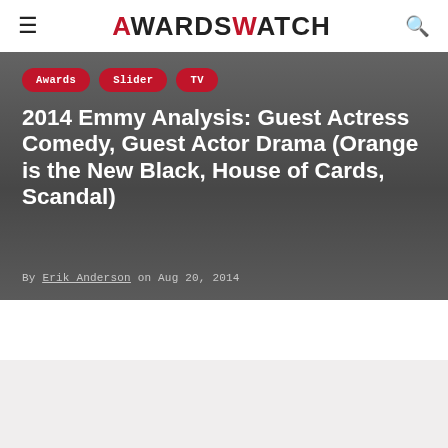AwardsWatch
[Figure (screenshot): Hero image with dark gray gradient background containing category tags (Awards, Slider, TV), article title, and byline]
2014 Emmy Analysis: Guest Actress Comedy, Guest Actor Drama (Orange is the New Black, House of Cards, Scandal)
By Erik Anderson on Aug 20, 2014